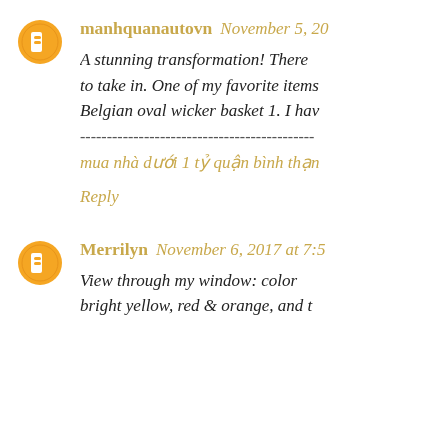manhquanautovn November 5, 20... A stunning transformation! There ... to take in. One of my favorite items... Belgian oval wicker basket 1. I hav...
mua nhà dưới 1 tỷ quận bình thạn...
Reply
Merrilyn November 6, 2017 at 7:5... View through my window: color... bright yellow, red & orange, and t...